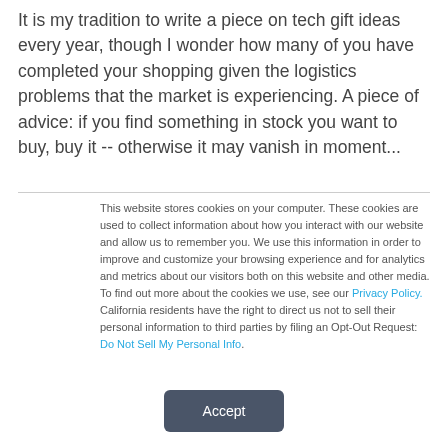It is my tradition to write a piece on tech gift ideas every year, though I wonder how many of you have completed your shopping given the logistics problems that the market is experiencing. A piece of advice: if you find something in stock you want to buy, buy it -- otherwise it may vanish in moment...
This website stores cookies on your computer. These cookies are used to collect information about how you interact with our website and allow us to remember you. We use this information in order to improve and customize your browsing experience and for analytics and metrics about our visitors both on this website and other media. To find out more about the cookies we use, see our Privacy Policy. California residents have the right to direct us not to sell their personal information to third parties by filing an Opt-Out Request: Do Not Sell My Personal Info.
Accept